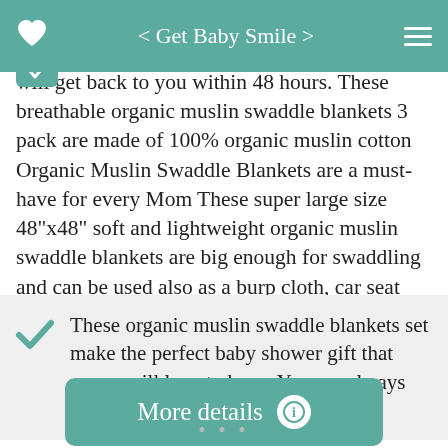< Get Baby Smile >
will get back to you within 48 hours. These breathable organic muslin swaddle blankets 3 pack are made of 100% organic muslin cotton Organic Muslin Swaddle Blankets are a must-have for every Mom These super large size 48"x48" soft and lightweight organic muslin swaddle blankets are big enough for swaddling and can be used also as a burp cloth, car seat cover, stroller cover, nursing cover or as a summer blanket.
These organic muslin swaddle blankets set make the perfect baby shower gift that moms will love to have. You are always covered.
More details